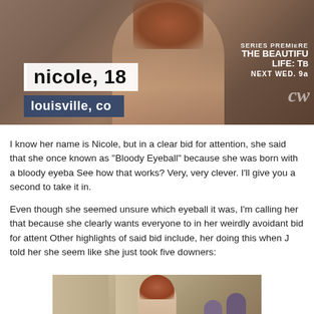[Figure (screenshot): TV screenshot showing a young woman with red hair. Lower-third graphic overlay reads 'nicole, 18' in white box and 'louisville, co' in blue bar. Top right shows CW network promo text 'SERIES PREMIERE THE BEAUTIFUL LIFE: TB NEXT WED. 9' and CW logo.]
I know her name is Nicole, but in a clear bid for attention, she said that she once known as "Bloody Eyeball" because she was born with a bloody eyeba See how that works? Very, very clever. I'll give you a second to take it in.
Even though she seemed unsure which eyeball it was, I'm calling her that because she clearly wants everyone to in her weirdly avoidant bid for attent Other highlights of said bid include, her doing this when J told her she seem like she just took five downers:
[Figure (screenshot): TV screenshot showing a young woman with red hair standing in what appears to be a studio or stage setting with mannequins visible in the background.]